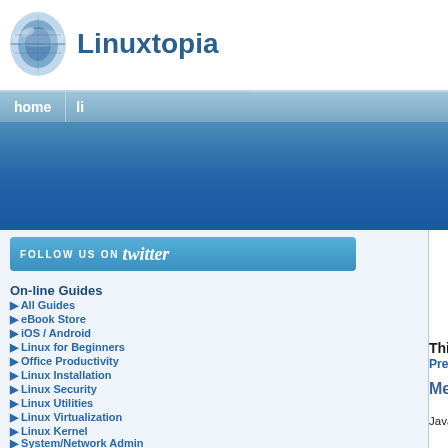[Figure (logo): Linuxtopia website header with spinning disk logo and site name]
home | li
[Figure (screenshot): Blue banner advertisement area]
[Figure (screenshot): Follow us on Twitter button]
On-line Guides
All Guides
eBook Store
iOS / Android
Linux for Beginners
Office Productivity
Linux Installation
Linux Security
Linux Utilities
Linux Virtualization
Linux Kernel
System/Network Admin
Programming
Prev
Think
Con
Member initialization
Java goes out of its way to guarantee tha are used. In the case of variables that ar